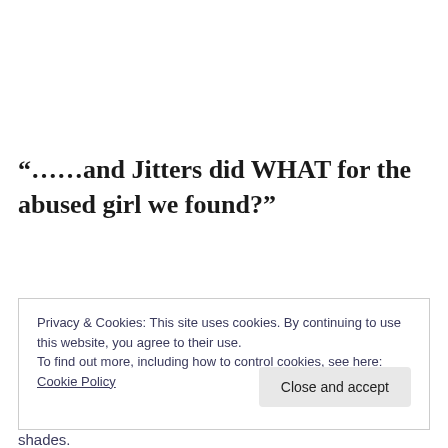“……and Jitters did WHAT for the abused girl we found?”
Privacy & Cookies: This site uses cookies. By continuing to use this website, you agree to their use.
To find out more, including how to control cookies, see here: Cookie Policy
Close and accept
shades.